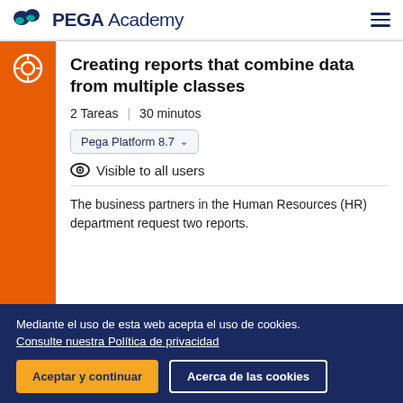PEGA Academy
Creating reports that combine data from multiple classes
2 Tareas  |  30 minutos
Pega Platform 8.7
Visible to all users
The business partners in the Human Resources (HR) department request two reports.
Mediante el uso de esta web acepta el uso de cookies. Consulte nuestra Política de privacidad
Aceptar y continuar   Acerca de las cookies